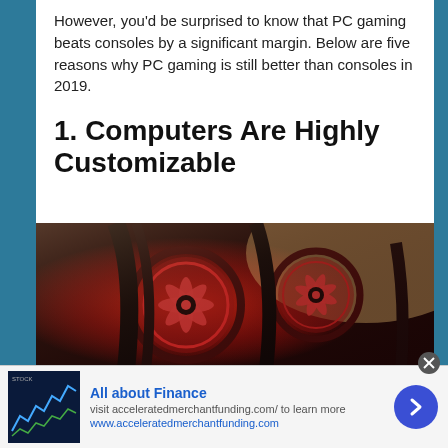However, you'd be surprised to know that PC gaming beats consoles by a significant margin. Below are five reasons why PC gaming is still better than consoles in 2019.
1.  Computers Are Highly Customizable
[Figure (photo): Close-up photo of a PC cooling system with red LED fans and radiator hoses against a light background.]
All about Finance
visit acceleratedmerchantfunding.com/ to learn more
www.acceleratedmerchantfunding.com